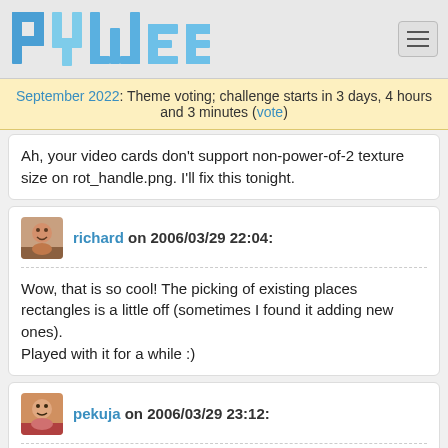PyWeek logo and navigation
September 2022: Theme voting; challenge starts in 3 days, 4 hours and 3 minutes (vote)
Ah, your video cards don't support non-power-of-2 texture size on rot_handle.png. I'll fix this tonight.
richard on 2006/03/29 22:04:
Wow, that is so cool! The picking of existing places rectangles is a little off (sometimes I found it adding new ones).
Played with it for a while :)
pekuja on 2006/03/29 23:12:
Yes, my video card is a very very basic Intel integrated card. The game also didn't run very fast. I hope you have some time to optimise it a bit before Sunday. I really want to play it. :-/